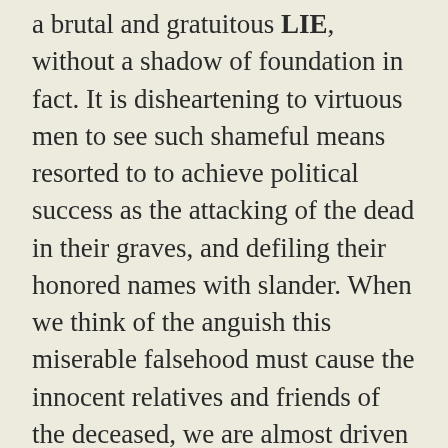a brutal and gratuitous LIE, without a shadow of foundation in fact. It is disheartening to virtuous men to see such shameful means resorted to to achieve political success as the attacking of the dead in their graves, and defiling their honored names with slander. When we think of the anguish this miserable falsehood must cause the innocent relatives and friends of the deceased, we are almost driven to incite an outraged and insulted public to summary and unlawful vengeance upon the traducer. But no! let